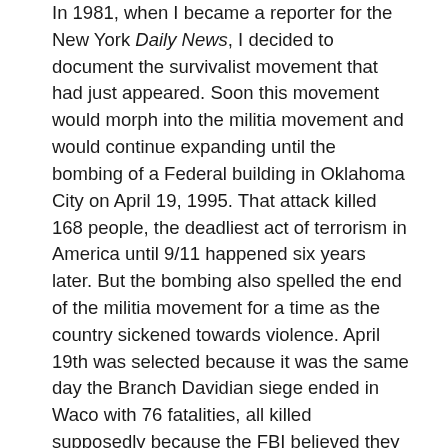In 1981, when I became a reporter for the New York Daily News, I decided to document the survivalist movement that had just appeared. Soon this movement would morph into the militia movement and would continue expanding until the bombing of a Federal building in Oklahoma City on April 19, 1995. That attack killed 168 people, the deadliest act of terrorism in America until 9/11 happened six years later. But the bombing also spelled the end of the militia movement for a time as the country sickened towards violence. April 19th was selected because it was the same day the Branch Davidian siege ended in Waco with 76 fatalities, all killed supposedly because the FBI believed they were planning group suicide. False allegations of child abuse were also circulated to help bring that siege to its violent conclusion.
Why are people so easily manipulated by these sorts of false fears? For in the beginning of all civic insurrection,...